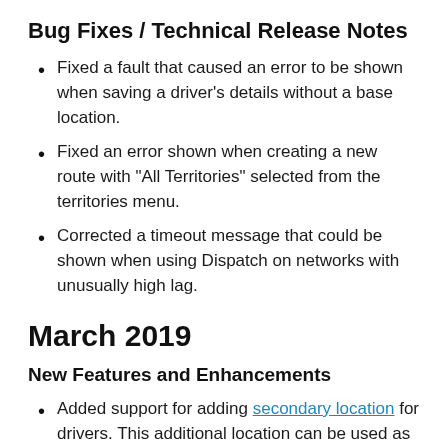Bug Fixes / Technical Release Notes
Fixed a fault that caused an error to be shown when saving a driver's details without a base location.
Fixed an error shown when creating a new route with "All Territories" selected from the territories menu.
Corrected a timeout message that could be shown when using Dispatch on networks with unusually high lag.
March 2019
New Features and Enhancements
Added support for adding secondary location for drivers. This additional location can be used as